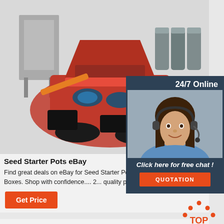[Figure (photo): Industrial red seed planting/seeding machine on white/grey background with a grey box/cabinet to the left]
[Figure (photo): 24/7 Online chat overlay panel with a woman wearing headset (customer support agent) and a QUOTATION button]
Seed Starter Pots eBay
Find great deals on eBay for Seed Starter Pots in G... Pots and Window Boxes. Shop with confidence.... 2... quality pots Seed...
Get Price
[Figure (logo): TOP button with orange dotted triangle above orange text TOP]
[Figure (logo): Company logo - circular logo with letter A and wheat/grain graphic, text TUAN ANH below]